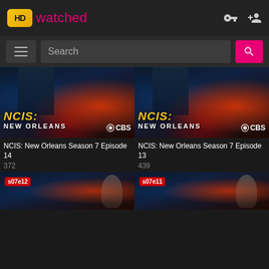HD watched
Search
[Figure (screenshot): NCIS: New Orleans Season 7 Episode 14 thumbnail — show poster with red/orange police lights, CBS logo, yellow italic NCIS: text and white NEW ORLEANS subtitle]
NCIS: New Orleans Season 7 Episode 14
372
[Figure (screenshot): NCIS: New Orleans Season 7 Episode 13 thumbnail — same show poster style with red/orange police lights, CBS logo, yellow italic NCIS: text and white NEW ORLEANS subtitle]
NCIS: New Orleans Season 7 Episode 13
439
[Figure (screenshot): NCIS: New Orleans s07e12 thumbnail — partial view at bottom of page]
[Figure (screenshot): NCIS: New Orleans s07e11 thumbnail — partial view at bottom of page]